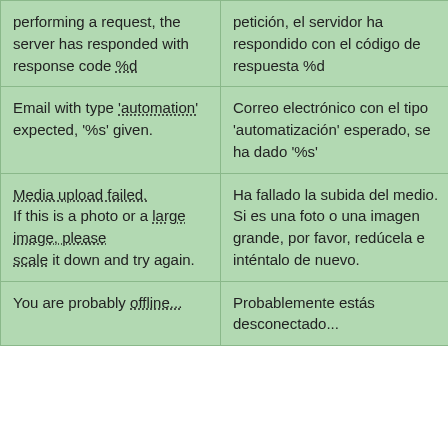| performing a request, the server has responded with response code %d | petición, el servidor ha respondido con el código de respuesta %d |  |
| Email with type 'automation' expected, '%s' given. | Correo electrónico con el tipo 'automatización' esperado, se ha dado '%s' | Details |
| Media upload failed. If this is a photo or a large image, please scale it down and try again. | Ha fallado la subida del medio. Si es una foto o una imagen grande, por favor, redúcela e inténtalo de nuevo. | Details |
| You are probably offline... | Probablemente estás desconectado... | Details |